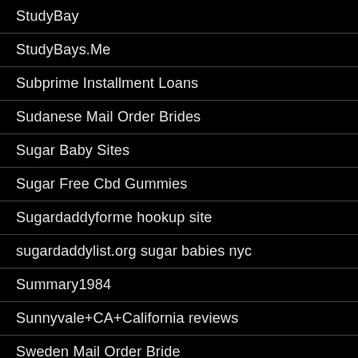StudyBay
StudyBays.Me
Subprime Installment Loans
Sudanese Mail Order Brides
Sugar Baby Sites
Sugar Free Cbd Gummies
Sugardaddyforme hookup site
sugardaddylist.org sugar babies nyc
Summary1984
Sunnyvale+CA+California reviews
Sweden Mail Order Bride
Syrian Brides
System Errors